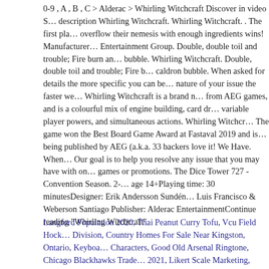0-9 , A , B , C > Alderac > Whirling Witchcraft Discover in video S… description Whirling Witchcraft. Whirling Witchcraft. . The first pla… overflow their nemesis with enough ingredients wins! Manufacturer… Entertainment Group. Double, double toil and trouble; Fire burn an… bubble. Whirling Witchcraft. Double, double toil and trouble; Fire b… caldron bubble. When asked for details the more specific you can be… nature of your issue the faster we… Whirling Witchcraft is a brand n… from AEG games, and is a colourful mix of engine building, card dr… variable player powers, and simultaneous actions. Whirling Witchcr… The game won the Best Board Game Award at Fastaval 2019 and is… being published by AEG (a.k.a. 33 backers love it! We Have. When… Our goal is to help you resolve any issue that you may have with on… games or promotions. The Dice Tower 727 - Convention Season. 2-… age 14+Playing time: 30 minutesDesigner: Erik Andersson SundénA… Luis Francisco & Weberson Santiago Publisher: Alderac EntertainmentContinue reading "Whirling Witchcraft"
Langford Population 2020, Thai Peanut Curry Tofu, Vcu Field Hock… Division, Country Homes For Sale Near Kingston, Ontario, Keyboa… Characters, Good Old Arsenal Ringtone, Chicago Blackhawks Trade… 2021, Likert Scale Marketing, Zachary Levi Singing Broadway, Chr…